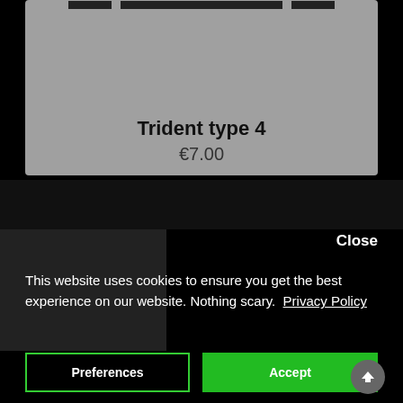Trident type 4
€7.00
Close
This website uses cookies to ensure you get the best experience on our website. Nothing scary.  Privacy Policy
Preferences
Accept